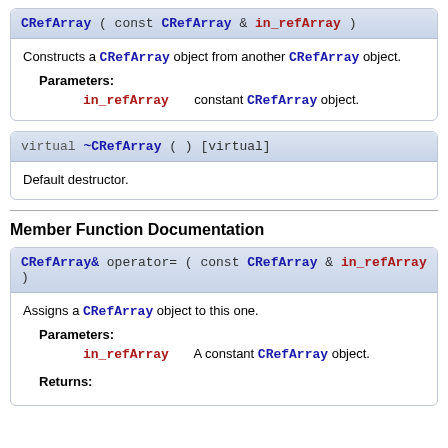CRefArray ( const CRefArray & in_refArray )
Constructs a CRefArray object from another CRefArray object.
Parameters:
in_refArray  constant CRefArray object.
virtual ~CRefArray ( ) [virtual]
Default destructor.
Member Function Documentation
CRefArray& operator= ( const CRefArray & in_refArray )
Assigns a CRefArray object to this one.
Parameters:
in_refArray  A constant CRefArray object.
Returns: